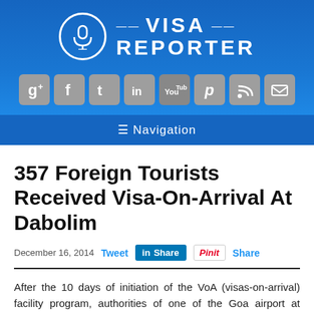[Figure (logo): Visa Reporter logo with microphone icon circle and bold white text 'VISA REPORTER' on blue gradient background]
[Figure (infographic): Row of social media icon buttons: Google+, Facebook, Twitter, LinkedIn, YouTube, Pinterest, RSS, Email on blue background]
≡ Navigation
357 Foreign Tourists Received Visa-On-Arrival At Dabolim
December 16, 2014  Tweet  Share  Pin it  Share
After the 10 days of initiation of the VoA (visas-on-arrival) facility program, authorities of one of the Goa airport at Dabolim promulgated 357 visas to overseas nationals. The new scheme